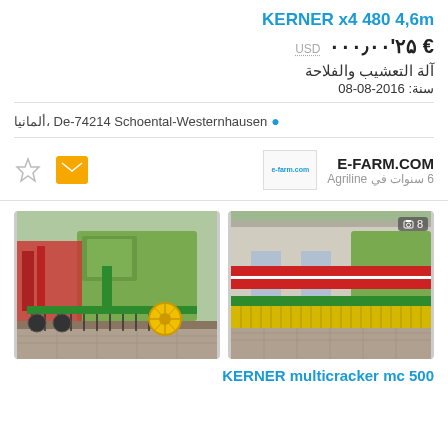KERNER x4 480 4,6m
USD  € ۲۵'۰۰۰٫۰۰
آلة التعشيب والفلاحة
سنة: 2016-08-08
ألمانيا، De-74214 Schoental-Westernhausen
E-FARM.COM
6 سنوات في Agriline
[Figure (photo): Agricultural tillage machine/cultivator with green frame and disc harrows, photographed in a farmyard, with a green harvester in background]
[Figure (photo): Agricultural cultivator/field machine with green frame and roller, photographed in a farmyard, badge showing 8 photos]
KERNER multicracker mc 500